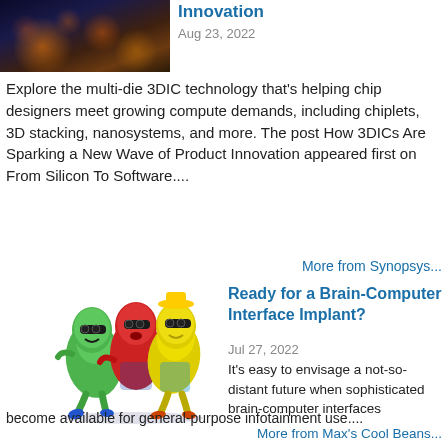[Figure (photo): Dark aerial/satellite photo with orange glowing lights, thumbnail for article about 3DIC technology]
Innovation
Aug 23, 2022
Explore the multi-die 3DIC technology that's helping chip designers meet growing compute demands, including chiplets, 3D stacking, nanosystems, and more. The post How 3DICs Are Sparking a New Wave of Product Innovation appeared first on From Silicon To Software....
More from Synopsys...
[Figure (illustration): Three cartoon bean characters wearing sunglasses - green, red, and yellow beans dressed casually, appearing to dance]
Ready for a Brain-Computer Interface Implant?
Jul 27, 2022
It's easy to envisage a not-so-distant future when sophisticated brain-computer interfaces become available for general-purpose infotainment use....
More from Max's Cool Beans...
[Figure (photo): Partial banner image showing red and teal/cyan colors with partial text '20-21']